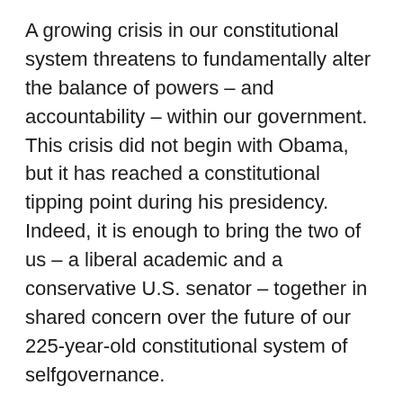A growing crisis in our constitutional system threatens to fundamentally alter the balance of powers – and accountability – within our government. This crisis did not begin with Obama, but it has reached a constitutional tipping point during his presidency. Indeed, it is enough to bring the two of us – a liberal academic and a conservative U.S. senator – together in shared concern over the future of our 225-year-old constitutional system of selfgovernance.
We believe that people of good faith can likewise transcend politics and forge a bipartisan coalition to examine these changes. In our view, the gridlock in Washington is not simply the result of toxic divisions. The dysfunctional politics we are experiencing may in part be the result of a deeper corrosion – a dangerous instability that is growing within our Madisonian system.
Unfortunately, however, when separation-of-powers